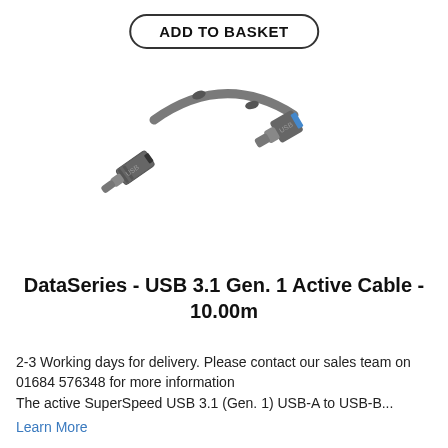ADD TO BASKET
[Figure (photo): A grey USB 3.1 cable showing both ends: USB-A connector on the left and USB-B connector with blue insert on the right, connected by a grey cable coiled in the background.]
DataSeries - USB 3.1 Gen. 1 Active Cable - 10.00m
2-3 Working days for delivery. Please contact our sales team on 01684 576348 for more information
The active SuperSpeed USB 3.1 (Gen. 1) USB-A to USB-B...
Learn More